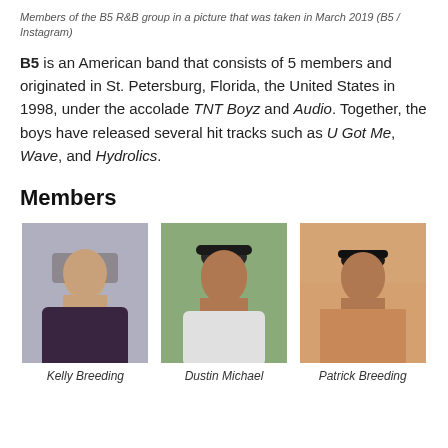Members of the B5 R&B group in a picture that was taken in March 2019 (B5 / Instagram)
B5 is an American band that consists of 5 members and originated in St. Petersburg, Florida, the United States in 1998, under the accolade TNT Boyz and Audio. Together, the boys have released several hit tracks such as U Got Me, Wave, and Hydrolics.
Members
[Figure (photo): Three side-by-side photos of B5 members: Kelly Breeding, Dustin Michael, and Patrick Breeding]
Kelly Breeding
Dustin Michael
Patrick Breeding